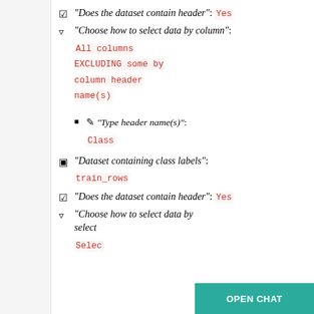"Does the dataset contain header": Yes
"Choose how to select data by column": All columns EXCLUDING some by column header name(s)
"Type header name(s)": Class
"Dataset containing class labels": train_rows
"Does the dataset contain header": Yes
"Choose how to select data by column": Selec...